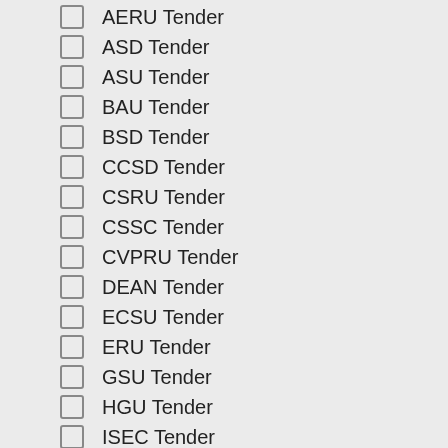AERU Tender
ASD Tender
ASU Tender
BAU Tender
BSD Tender
CCSD Tender
CSRU Tender
CSSC Tender
CVPRU Tender
DEAN Tender
ECSU Tender
ERU Tender
GSU Tender
HGU Tender
ISEC Tender
ISI, Kolkata
ISRU Tender